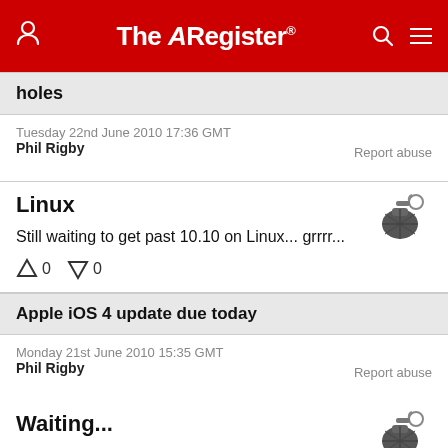The Register
holes
Tuesday 22nd June 2010 17:36 GMT
Phil Rigby
Report abuse
Linux
Still waiting to get past 10.10 on Linux... grrrr...
0  0
Apple iOS 4 update due today
Monday 21st June 2010 15:35 GMT
Phil Rigby
Report abuse
Waiting...